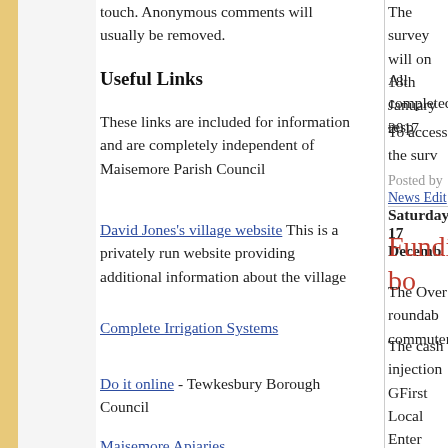touch. Anonymous comments will usually be removed.
Useful Links
These links are included for information and are completely independent of Maisemore Parish Council
David Jones's village website This is a privately run website providing additional information about the village
Complete Irrigation Systems
Do it online - Tewkesbury Borough Council
Maisemore Apiaries
The survey will on 18th January 2017
All completed resp
To access the surv
Posted by News Edit
Saturday, 17 Decemb
Funding bo
The Over roundab commuters.
The cash injection GFirst Local Enter improve the busy j and A417, reports Citizen.  The work the approaches fro Longford from two